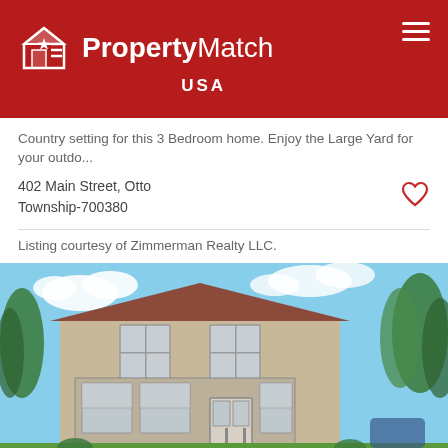PropertyMatch USA
Country setting for this 3 Bedroom home. Enjoy the Large Yard for your outdo...
402 Main Street, Otto Township-700380
Listing courtesy of Zimmerman Realty LLC.
[Figure (photo): Exterior photo of a beige/tan two-story house with a sunroom addition on the front, white door, steps leading up, green lawn, trees in background, blue sky with clouds.]